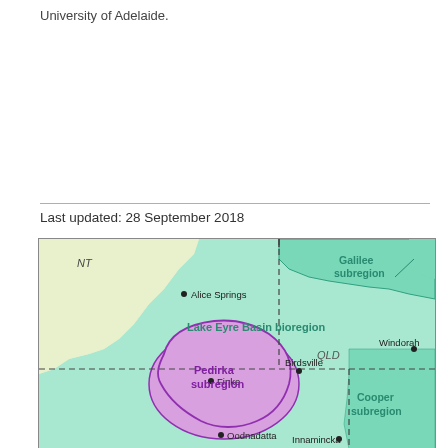University of Adelaide.
Last updated: 28 September 2018
[Figure (map): Map showing the Lake Eyre Basin bioregion in central Australia, including the Pedirka subregion (purple), Galilee subregion (teal, northeast), and Cooper subregion (teal, east). Locations marked include NT, Alice Springs, Finke, Oodnadatta, Birdsville, Innamincka, Windorah, and QLD.]